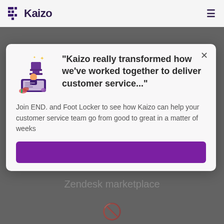Kaizo
[Figure (screenshot): A modal popup on a Kaizo website page. The modal contains an illustration of a person at a laptop with a trophy/award graphic, a testimonial quote in bold, body text, and a purple call-to-action button. Background shows a Zendesk marketplace page.]
"Kaizo really transformed how we've worked together to deliver customer service..."
Join END. and Foot Locker to see how Kaizo can help your customer service team go from good to great in a matter of weeks
Zendesk marketplace